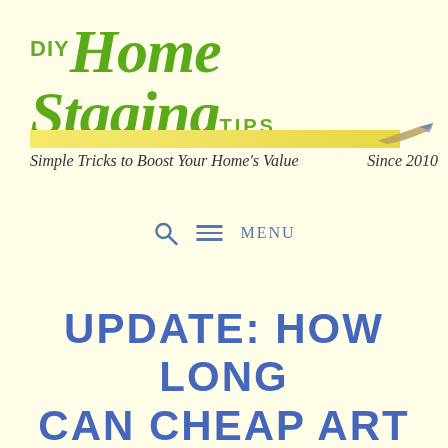[Figure (logo): DIY Home Staging Tips logo with green script text and yellow paintbrush underline]
Simple Tricks to Boost Your Home's Value    Since 2010
🔍  ≡  MENU
UPDATE: HOW LONG CAN CHEAP ART LAST?